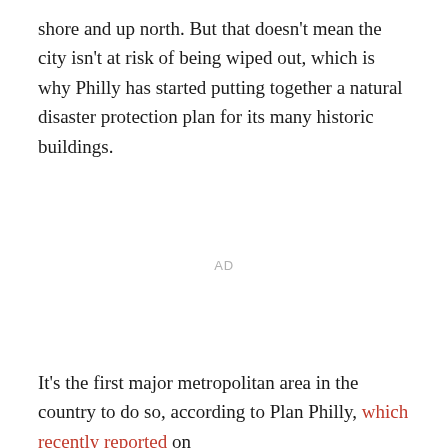shore and up north. But that doesn't mean the city isn't at risk of being wiped out, which is why Philly has started putting together a natural disaster protection plan for its many historic buildings.
AD
It's the first major metropolitan area in the country to do so, according to Plan Philly, which recently reported on